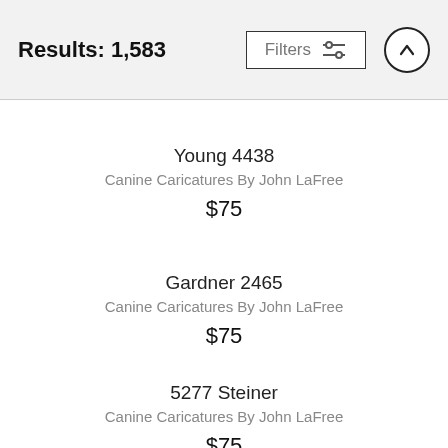Results: 1,583
Young 4438
Canine Caricatures By John LaFree
$75
Gardner 2465
Canine Caricatures By John LaFree
$75
5277 Steiner
Canine Caricatures By John LaFree
$75